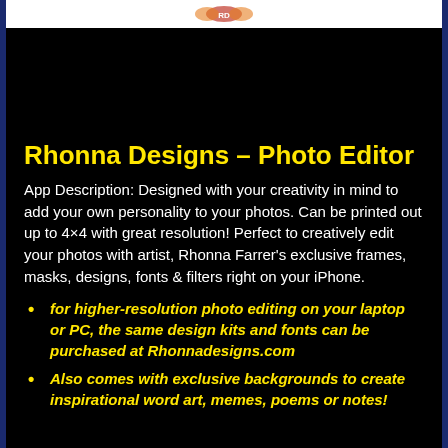[Figure (photo): Header image strip with logo/graphic on white background]
Rhonna Designs – Photo Editor
App Description: Designed with your creativity in mind to add your own personality to your photos. Can be printed out up to 4×4 with great resolution! Perfect to creatively edit your photos with artist, Rhonna Farrer's exclusive frames, masks, designs, fonts & filters right on your iPhone.
for higher-resolution photo editing on your laptop or PC, the same design kits and fonts can be purchased at Rhonnadesigns.com
Also comes with exclusive backgrounds to create inspirational word art, memes, poems or notes!